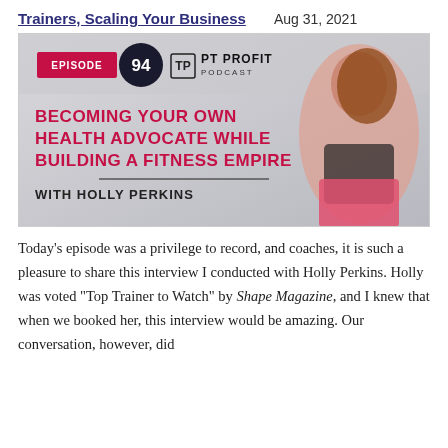Trainers, Scaling Your Business   Aug 31, 2021
[Figure (photo): PT Profit Podcast Episode 94 thumbnail image. Bold text reads 'BECOMING YOUR OWN HEALTH ADVOCATE WHILE BUILDING A FITNESS EMPIRE WITH HOLLY PERKINS'. Features logo with 'EPISODE 94' badge and PT Profit Podcast branding. Woman with brown hair in athletic wear posed on right side.]
Today's episode was a privilege to record, and coaches, it is such a pleasure to share this interview I conducted with Holly Perkins. Holly was voted "Top Trainer to Watch" by Shape Magazine, and I knew that when we booked her, this interview would be amazing. Our conversation, however, did